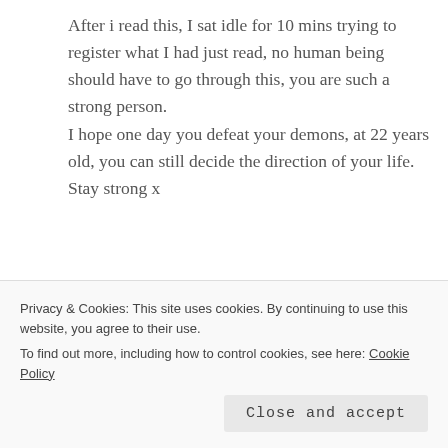After i read this, I sat idle for 10 mins trying to register what I had just read, no human being should have to go through this, you are such a strong person. I hope one day you defeat your demons, at 22 years old, you can still decide the direction of your life. Stay strong x
★ Liked by 1 person
Reply →
KATEALICE
Privacy & Cookies: This site uses cookies. By continuing to use this website, you agree to their use. To find out more, including how to control cookies, see here: Cookie Policy
Close and accept